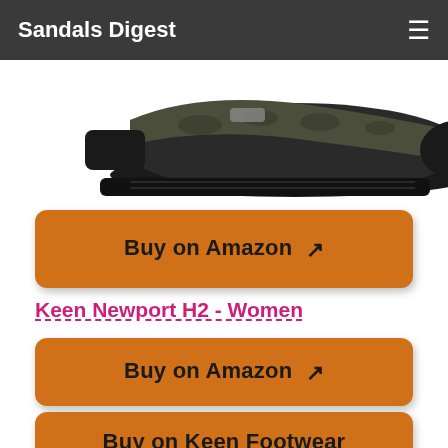Sandals Digest
[Figure (photo): Partial image of a sandal (Keen Newport H2 style) showing toe area and straps, black with camo pattern, cropped at top of page]
Buy on Amazon
Keen Newport H2 - Women
Buy on Amazon
Buy on Keen Footwear